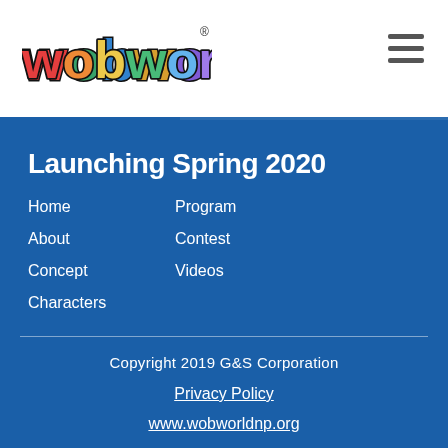[Figure (logo): WobWorld colorful bubble-letter logo in red, orange, yellow, green, blue, purple with black outline]
Launching Spring 2020
Home
About
Concept
Characters
Program
Contest
Videos
Copyright 2019 G&S Corporation
Privacy Policy
www.wobworldnp.org